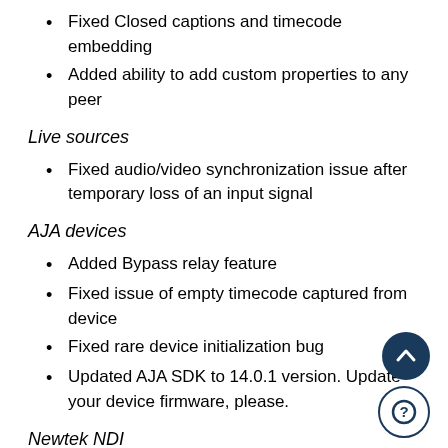Fixed Closed captions and timecode embedding
Added ability to add custom properties to any peer
Live sources
Fixed audio/video synchronization issue after temporary loss of an input signal
AJA devices
Added Bypass relay feature
Fixed issue of empty timecode captured from device
Fixed rare device initialization bug
Updated AJA SDK to 14.0.1 version. Update your device firmware, please.
Newtek NDI